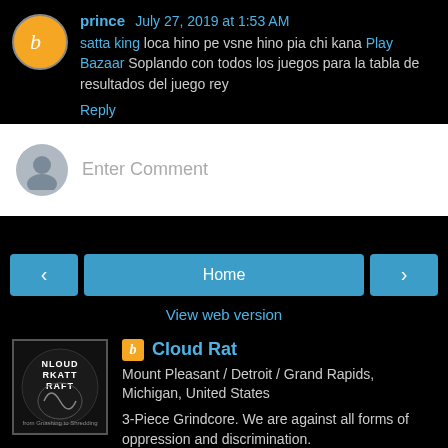prince July 27, 2019 at 1:53 AM
satta king loca hino pe vsne hino pia chi kana Play Bazaar Soplando con todos los juegos para la tabla de resultados del juego rey
Reply
Enter Comment
[Figure (infographic): Navigation buttons: left arrow, Home center button, right arrow, and View web version link]
Cloud Rat
Mount Pleasant / Detroit / Grand Rapids, Michigan, United States
3-Piece Grindcore. We are against all forms of oppression and discrimination.
[Figure (photo): Cloud Rat band logo/album art - black and white circular design with text CLOUD RAT]